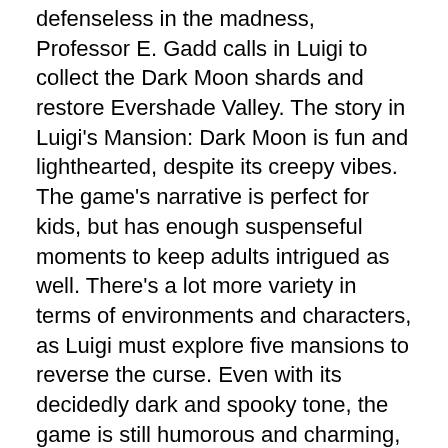defenseless in the madness, Professor E. Gadd calls in Luigi to collect the Dark Moon shards and restore Evershade Valley. The story in Luigi's Mansion: Dark Moon is fun and lighthearted, despite its creepy vibes. The game's narrative is perfect for kids, but has enough suspenseful moments to keep adults intrigued as well. There's a lot more variety in terms of environments and characters, as Luigi must explore five mansions to reverse the curse. Even with its decidedly dark and spooky tone, the game is still humorous and charming, enough to leave a huge smile on your face.
Gameplay
Much like the first game, Luigi's Mansion: Dark Moon plays like a kid-friendly version of Resident Evil, where players are tasked with exploring dark mansions filled with ghosts. In order to defeat them, Luigi is equipped with the Poltergust 5000, a powerful vacuum made specifically for sucking up ghosts. However, you must stun the ghosts first by using your flashlight, which